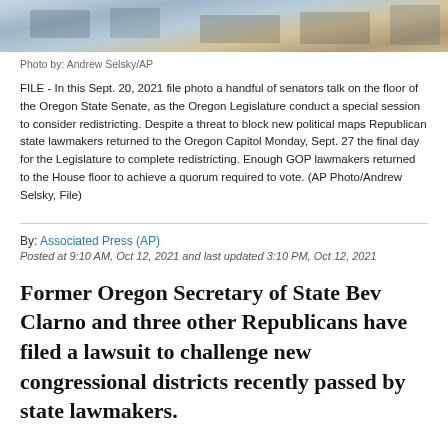[Figure (photo): Senate floor photo showing senators talking, Oregon State Senate chamber]
Photo by: Andrew Selsky/AP
FILE - In this Sept. 20, 2021 file photo a handful of senators talk on the floor of the Oregon State Senate, as the Oregon Legislature conduct a special session to consider redistricting. Despite a threat to block new political maps Republican state lawmakers returned to the Oregon Capitol Monday, Sept. 27 the final day for the Legislature to complete redistricting. Enough GOP lawmakers returned to the House floor to achieve a quorum required to vote. (AP Photo/Andrew Selsky, File)
By: Associated Press (AP)
Posted at 9:10 AM, Oct 12, 2021 and last updated 3:10 PM, Oct 12, 2021
Former Oregon Secretary of State Bev Clarno and three other Republicans have filed a lawsuit to challenge new congressional districts recently passed by state lawmakers.